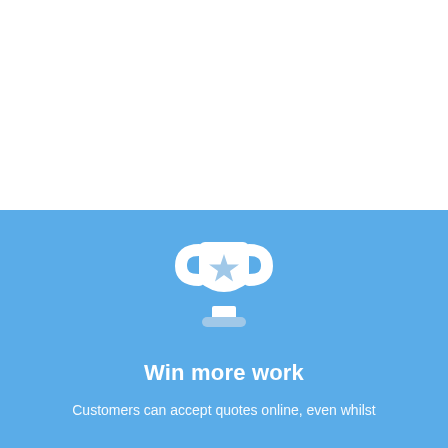[Figure (illustration): Trophy icon with a star in the center, rendered in white with a lighter blue star, on a blue background]
Win more work
Customers can accept quotes online, even whilst